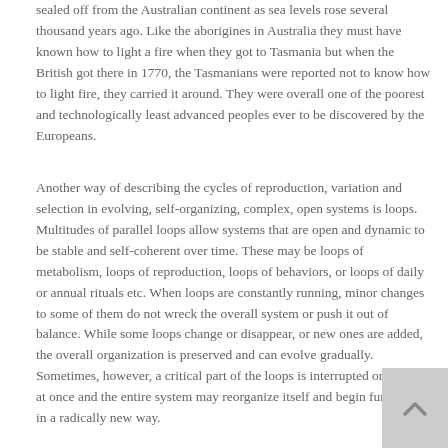sealed off from the Australian continent as sea levels rose several thousand years ago. Like the aborigines in Australia they must have known how to light a fire when they got to Tasmania but when the British got there in 1770, the Tasmanians were reported not to know how to light fire, they carried it around. They were overall one of the poorest and technologically least advanced peoples ever to be discovered by the Europeans.
Another way of describing the cycles of reproduction, variation and selection in evolving, self-organizing, complex, open systems is loops. Multitudes of parallel loops allow systems that are open and dynamic to be stable and self-coherent over time. These may be loops of metabolism, loops of reproduction, loops of behaviors, or loops of daily or annual rituals etc. When loops are constantly running, minor changes to some of them do not wreck the overall system or push it out of balance. While some loops change or disappear, or new ones are added, the overall organization is preserved and can evolve gradually. Sometimes, however, a critical part of the loops is interrupted or changed at once and the entire system may reorganize itself and begin functioning in a radically new way.